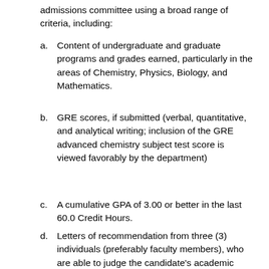admissions committee using a broad range of criteria, including:
a. Content of undergraduate and graduate programs and grades earned, particularly in the areas of Chemistry, Physics, Biology, and Mathematics.
b. GRE scores, if submitted (verbal, quantitative, and analytical writing; inclusion of the GRE advanced chemistry subject test score is viewed favorably by the department)
c. A cumulative GPA of 3.00 or better in the last 60.0 Credit Hours.
d. Letters of recommendation from three (3) individuals (preferably faculty members), who are able to judge the candidate's academic abilities and potential for scholarly scientific